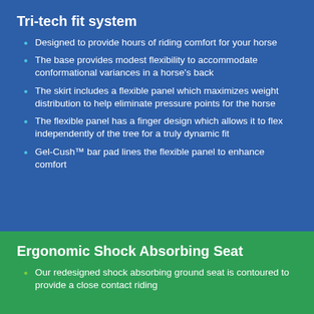Tri-tech fit system
Designed to provide hours of riding comfort for your horse
The base provides modest flexibility to accommodate conformational variances in a horse's back
The skirt includes a flexible panel which maximizes weight distribution to help eliminate pressure points for the horse
The flexible panel has a finger design which allows it to flex independently of the tree for a truly dynamic fit
Gel-Cush™ bar pad lines the flexible panel to enhance comfort
Ergonomic Shock Absorbing Seat
Our redesigned shock absorbing ground seat is contoured to provide a close contact riding